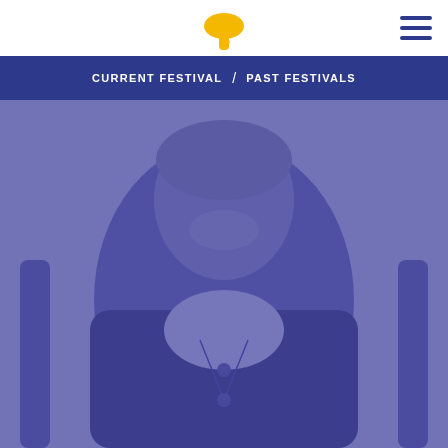CURRENT FESTIVAL / PAST FESTIVALS
[Figure (photo): A smiling young woman with short hair, wearing a dark cardigan over a white top with a long necklace, seated on an ornate chair. The photo has a blue/purple overlay tint.]